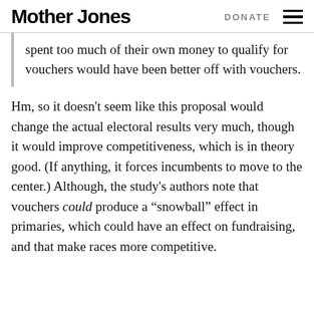Mother Jones   DONATE
spent too much of their own money to qualify for vouchers would have been better off with vouchers.
Hm, so it doesn't seem like this proposal would change the actual electoral results very much, though it would improve competitiveness, which is in theory good. (If anything, it forces incumbents to move to the center.) Although, the study's authors note that vouchers could produce a “snowball” effect in primaries, which could have an effect on fundraising, and that make races more competitive.